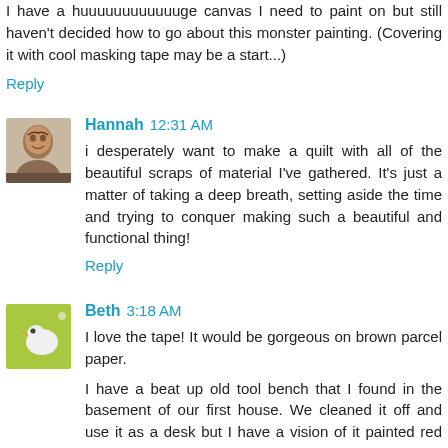I have a huuuuuuuuuuuuge canvas I need to paint on but still haven't decided how to go about this monster painting. (Covering it with cool masking tape may be a start...)
Reply
Hannah  12:31 AM
i desperately want to make a quilt with all of the beautiful scraps of material I've gathered. It's just a matter of taking a deep breath, setting aside the time and trying to conquer making such a beautiful and functional thing!
Reply
Beth  3:18 AM
I love the tape! It would be gorgeous on brown parcel paper.
I have a beat up old tool bench that I found in the basement of our first house. We cleaned it off and use it as a desk but I have a vision of it painted red and standing in our kithcen.